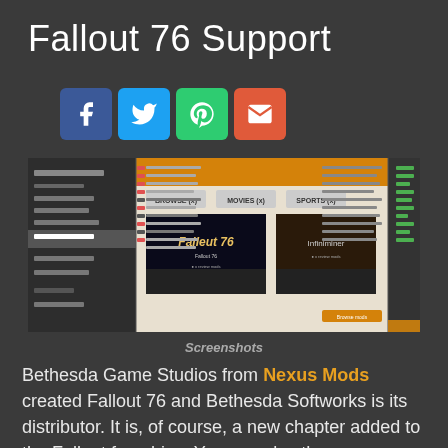Fallout 76 Support
[Figure (screenshot): Social media share buttons: Facebook, Twitter, Pinterest, Email]
[Figure (screenshot): Screenshots of Nexus Mods interface showing Fallout 76 game page and mod list]
Screenshots
Bethesda Game Studios from Nexus Mods created Fallout 76 and Bethesda Softworks is its distributor. It is, of course, a new chapter added to the Fallout franchise. You can play the game on PlayStation 4, and Xbox One Microsoft Windows. This is a prequel